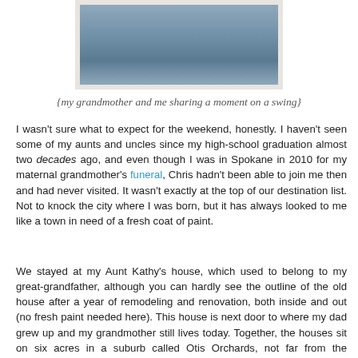[Figure (photo): Photo of a grandmother and grandchild sharing a moment on a swing, cropped to show lower torso/hands area, with a white border frame.]
{my grandmother and me sharing a moment on a swing}
I wasn't sure what to expect for the weekend, honestly. I haven't seen some of my aunts and uncles since my high-school graduation almost two decades ago, and even though I was in Spokane in 2010 for my maternal grandmother's funeral, Chris hadn't been able to join me then and had never visited. It wasn't exactly at the top of our destination list. Not to knock the city where I was born, but it has always looked to me like a town in need of a fresh coat of paint.
We stayed at my Aunt Kathy's house, which used to belong to my great-grandfather, although you can hardly see the outline of the old house after a year of remodeling and renovation, both inside and out (no fresh paint needed here). This house is next door to where my dad grew up and my grandmother still lives today. Together, the houses sit on six acres in a suburb called Otis Orchards, not far from the Spokane River and the Idaho border. It is rural, and was